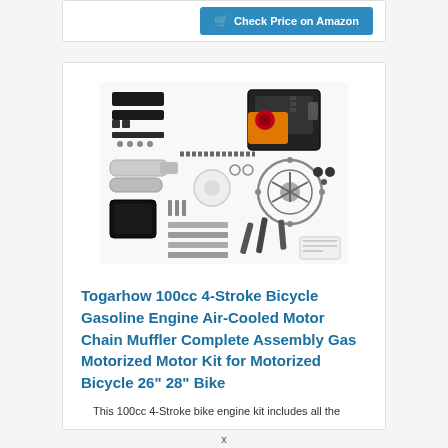[Figure (other): Check Price on Amazon button with shopping cart icon, blue background]
[Figure (photo): Product photo of Togarhow 100cc 4-Stroke Bicycle Gasoline Engine kit components laid out, including engine unit, chain, sprockets, muffler, fuel tank, mounting hardware, and various small parts on white background]
Togarhow 100cc 4-Stroke Bicycle Gasoline Engine Air-Cooled Motor Chain Muffler Complete Assembly Gas Motorized Motor Kit for Motorized Bicycle 26" 28" Bike
This 100cc 4-Stroke bike engine kit includes all the